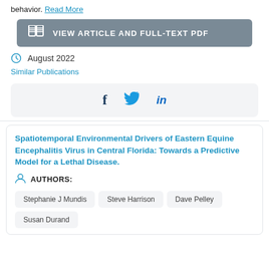behavior. Read More
VIEW ARTICLE AND FULL-TEXT PDF
August 2022
Similar Publications
[Figure (other): Social sharing bar with Facebook, Twitter, and LinkedIn icons]
Spatiotemporal Environmental Drivers of Eastern Equine Encephalitis Virus in Central Florida: Towards a Predictive Model for a Lethal Disease.
AUTHORS:
Stephanie J Mundis
Steve Harrison
Dave Pelley
Susan Durand